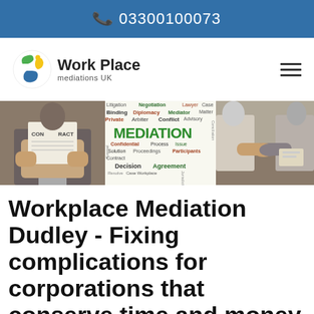📞 03300100073
[Figure (logo): Work Place Mediations UK logo with circular icon showing colorful figures]
[Figure (photo): Three-panel banner: left panel shows person holding a contract document, center panel shows mediation word cloud with terms like Litigation, Negotiation, Lawyer, MEDIATION etc., right panel shows two people shaking hands over a table]
Workplace Mediation Dudley - Fixing complications for corporations that conserve time and money